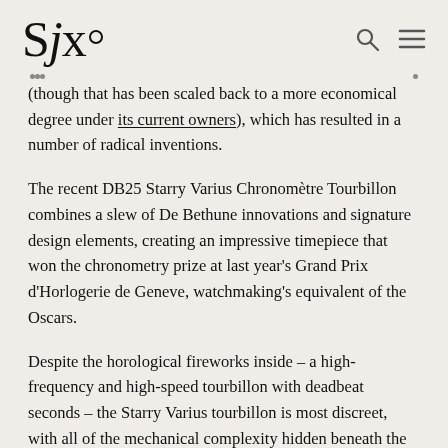SJx.
(though that has been scaled back to a more economical degree under its current owners), which has resulted in a number of radical inventions.
The recent DB25 Starry Varius Chronomètre Tourbillon combines a slew of De Bethune innovations and signature design elements, creating an impressive timepiece that won the chronometry prize at last year's Grand Prix d'Horlogerie de Geneve, watchmaking's equivalent of the Oscars.
Despite the horological fireworks inside – a high-frequency and high-speed tourbillon with deadbeat seconds – the Starry Varius tourbillon is most discreet,  with all of the mechanical complexity hidden beneath the blue, star-studded dial. A reference to the celestial motif on the dial, Starry Varius label was first applied to the